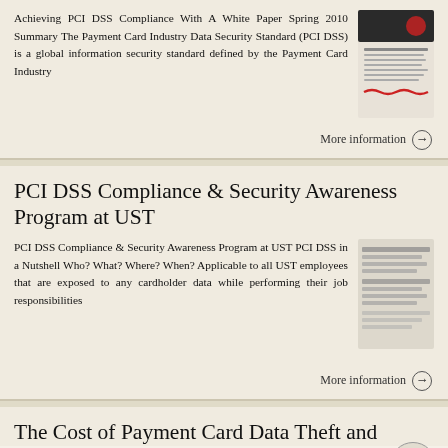Achieving PCI DSS Compliance With A White Paper Spring 2010 Summary The Payment Card Industry Data Security Standard (PCI DSS) is a global information security standard defined by the Payment Card Industry
[Figure (other): Thumbnail image of a document cover for PCI DSS white paper]
More information →
PCI DSS Compliance & Security Awareness Program at UST
PCI DSS Compliance & Security Awareness Program at UST PCI DSS in a Nutshell Who? What? Where? When? Applicable to all UST employees that are exposed to any cardholder data while performing their job responsibilities
[Figure (other): Thumbnail image of a document for PCI DSS Compliance & Security Awareness Program at UST]
More information →
The Cost of Payment Card Data Theft and